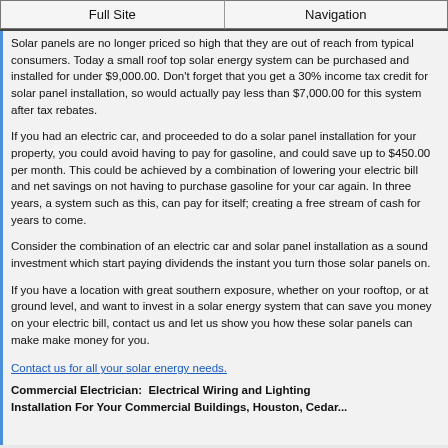Full Site   Navigation
Solar panels are no longer priced so high that they are out of reach from typical consumers. Today a small roof top solar energy system can be purchased and installed for under $9,000.00. Don't forget that you get a 30% income tax credit for solar panel installation, so would actually pay less than $7,000.00 for this system after tax rebates.
If you had an electric car, and proceeded to do a solar panel installation for your property, you could avoid having to pay for gasoline, and could save up to $450.00 per month. This could be achieved by a combination of lowering your electric bill and net savings on not having to purchase gasoline for your car again. In three years, a system such as this, can pay for itself; creating a free stream of cash for years to come.
Consider the combination of an electric car and solar panel installation as a sound investment which start paying dividends the instant you turn those solar panels on.
If you have a location with great southern exposure, whether on your rooftop, or at ground level, and want to invest in a solar energy system that can save you money on your electric bill, contact us and let us show you how these solar panels can make make money for you.
Contact us for all your solar energy needs.
Commercial Electrician:  Electrical Wiring and Lighting Installation For Your Commercial Buildings, Houston, Cedar...